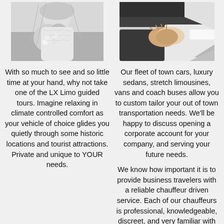[Figure (photo): Black and white photo of a bride holding a bouquet, upper portion visible]
[Figure (photo): Black and white photo of two people shaking hands in business attire]
With so much to see and so little time at your hand, why not take one of the LX Limo guided tours. Imagine relaxing in climate controlled comfort as your vehicle of choice glides you quietly through some historic locations and tourist attractions. Private and unique to YOUR needs.
Our fleet of town cars, luxury sedans, stretch limousines, vans and coach buses allow you to custom tailor your out of town transportation needs. We'll be happy to discuss opening a corporate account for your company, and serving your future needs.
We know how important it is to provide business travelers with a reliable chauffeur driven service. Each of our chauffeurs is professional, knowledgeable, discreet, and very familiar with the particular needs of a business traveler. LX Limo